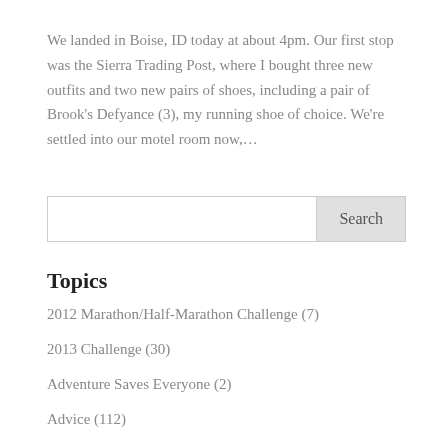We landed in Boise, ID today at about 4pm. Our first stop was the Sierra Trading Post, where I bought three new outfits and two new pairs of shoes, including a pair of Brook's Defyance (3), my running shoe of choice. We're settled into our motel room now,…
Search
Topics
2012 Marathon/Half-Marathon Challenge (7)
2013 Challenge (30)
Adventure Saves Everyone (2)
Advice (112)
Around Town (35)